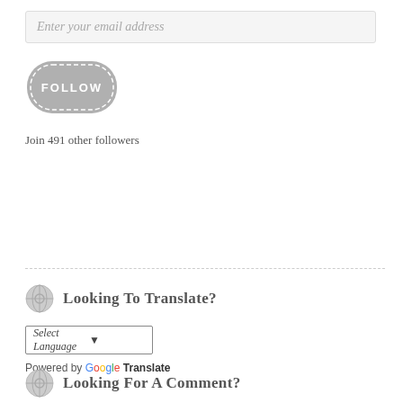Enter your email address
[Figure (other): FOLLOW button with dashed rounded border in gray]
Join 491 other followers
Looking to Translate?
Select Language
Powered by Google Translate
Looking for a Comment?